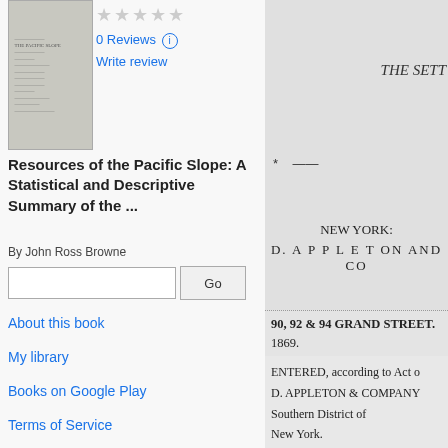[Figure (illustration): Book cover thumbnail for Resources of the Pacific Slope]
0 Reviews
Write review
Resources of the Pacific Slope: A Statistical and Descriptive Summary of the ...
By John Ross Browne
About this book
My library
Books on Google Play
Terms of Service
THE SETT
NEW YORK:
D. A P P L E T ON AND CO
90, 92 & 94 GRAND STREET.
1869.
ENTERED, according to Act o
D. APPLETON & COMPANY
Southern District of
New York.

REPORT